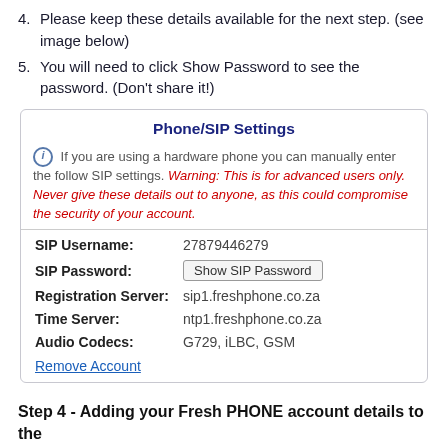4. Please keep these details available for the next step. (see image below)
5. You will need to click Show Password to see the password. (Don't share it!)
[Figure (screenshot): Phone/SIP Settings panel showing SIP Username: 27879446279, SIP Password: [Show SIP Password button], Registration Server: sip1.freshphone.co.za, Time Server: ntp1.freshphone.co.za, Audio Codecs: G729, iLBC, GSM, and a Remove Account link.]
Step 4 - Adding your Fresh PHONE account details to the